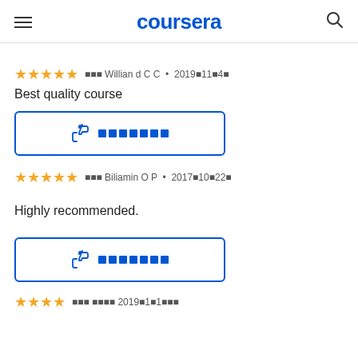coursera
★★★★★ 审核者 Willian d C C • 2019年11月4日
Best quality course
[Figure (other): Helpful button with thumbs up icon and placeholder text]
★★★★★ 审核者 Biliamin O P • 2017年10月22日
Highly recommended.
[Figure (other): Helpful button with thumbs up icon and placeholder text]
★★★★ 审核者...